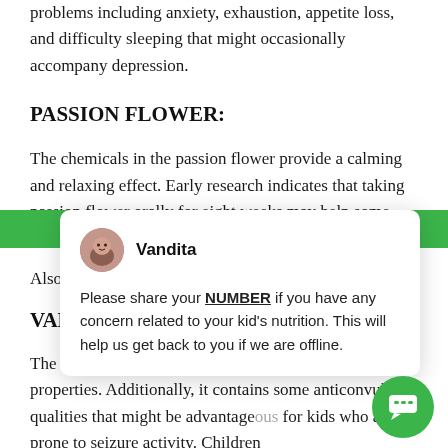problems including anxiety, exhaustion, appetite loss, and difficulty sleeping that might occasionally accompany depression.
PASSION FLOWER:
The chemicals in the passion flower provide a calming and relaxing effect. Early research indicates that taking passion flower orally for eight weeks may help some ADHD symptoms in kids aged 6 to 12 years.
Also, check
VALERIA
The herb valerian is well known for its relaxation properties. Additionally, it contains some anticonvulsant qualities that might be advantageous for kids who are prone to seizure activity. Children
[Figure (screenshot): Chat popup overlay with avatar of Vandita and message: Please share your NUMBER if you have any concern related to your kid's nutrition. This will help us get back to you if we are offline. Green chat button in lower right corner.]